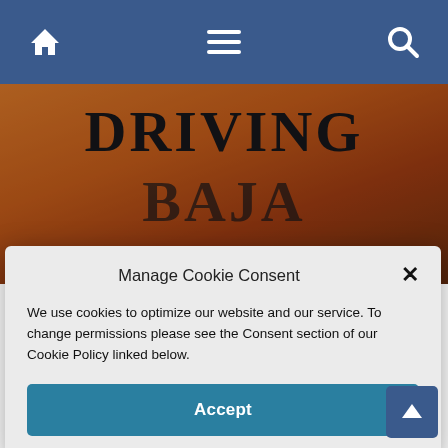[Figure (screenshot): Website navigation bar with dark blue background showing home icon, hamburger menu icon, and search icon]
[Figure (photo): Book cover image with orange/sunset background showing the word DRIVING in large black serif text and partial text below (BAJA)]
Manage Cookie Consent
We use cookies to optimize our website and our service. To change permissions please see the Consent section of our Cookie Policy linked below.
Accept
Timers
Driving Baja: A Guide for First Timers By Rachel McMillen Trafford Publishing, 2009 Available from Trafford Books: Paperback Driving Baja: A Guide